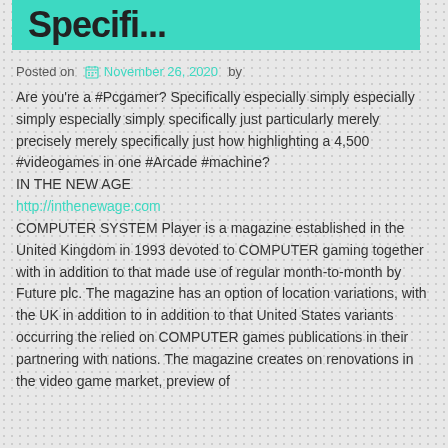Specifi...
Posted on  November 26, 2020  by
Are you're a #Pcgamer? Specifically especially simply especially simply especially simply specifically just particularly merely precisely merely specifically just how highlighting a 4,500 #videogames in one #Arcade #machine?
IN THE NEW AGE
http://inthenewage.com
COMPUTER SYSTEM Player is a magazine established in the United Kingdom in 1993 devoted to COMPUTER gaming together with in addition to that made use of regular month-to-month by Future plc. The magazine has an option of location variations, with the UK in addition to in addition to that United States variants occurring the relied on COMPUTER games publications in their partnering with nations. The magazine creates on renovations in the video game market, preview of